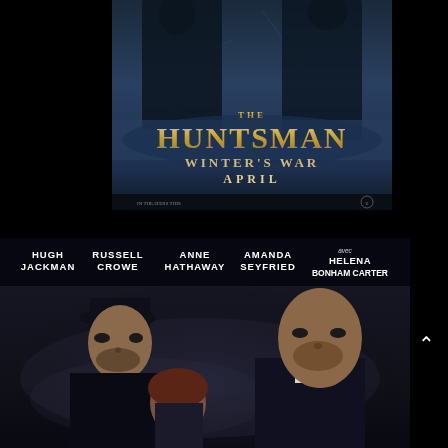[Figure (photo): Movie poster for 'The Huntsman: Winter's War' showing dark fantasy figures in winter setting with gold title text and release month 'April']
[Figure (photo): Movie poster for Les Misérables showing Hugh Jackman, Russell Crowe, Anne Hathaway, Amanda Seyfried, and Helena Bonham Carter with actor names listed at top]